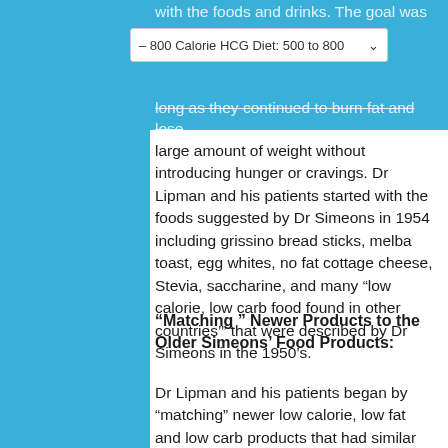with the foods and drinks. The goal was to make – 800 Calorie HCG Diet: 500 to 800 – long as they continued to burn fat and lose
large amount of weight without introducing hunger or cravings. Dr Lipman and his patients started with the foods suggested by Dr Simeons in 1954 including grissino bread sticks, melba toast, egg whites, no fat cottage cheese, Stevia, saccharine, and many “low calorie, low carb food found in other countries’” that were described by Dr Simeons in the 1950’s.
“Matching ” Newer Products to the Older Simeons’ Food Products:
Dr Lipman and his patients began by “matching” newer low calorie, low fat and low carb products that had similar calories, fat, protein and carbs to